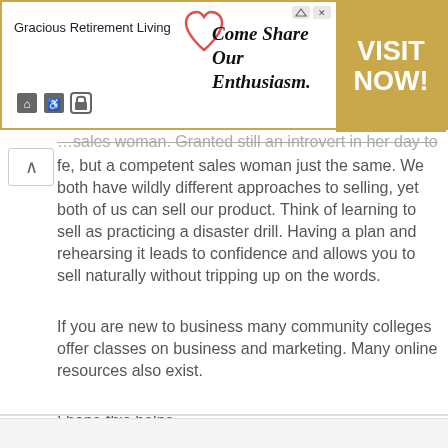[Figure (screenshot): Gracious Retirement Living advertisement banner with heart logo, 'Come Share Our Enthusiasm.' tagline, and 'VISIT NOW!' call to action on gold background]
...fe, but a competent sales woman just the same. We both have wildly different approaches to selling, yet both of us can sell our product. Think of learning to sell as practicing a disaster drill. Having a plan and rehearsing it leads to confidence and allows you to sell naturally without tripping up on the words.
If you are new to business many community colleges offer classes on business and marketing. Many online resources also exist.
I hope this helps.
Reply
Share your thoughts
Comment *